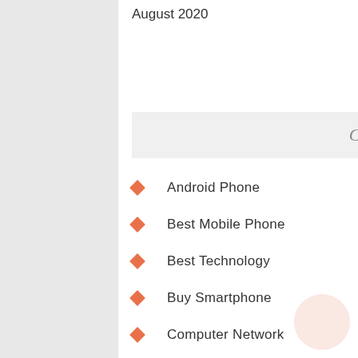August 2020
Categories
Android Phone
Best Mobile Phone
Best Technology
Buy Smartphone
Computer Network
Fix Your Gadgets
Gadgets Hacks
Latest Technology
Modern Tech Company